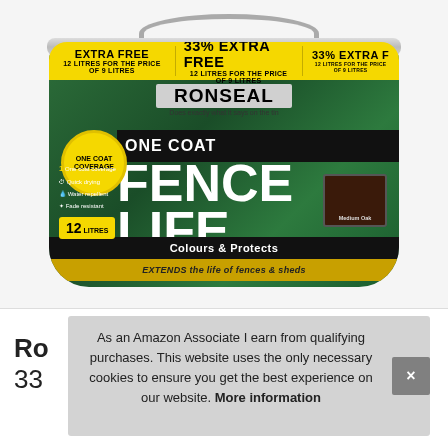[Figure (photo): Ronseal One Coat Fence Life product photo showing a 12-litre tub in Medium Oak colour with yellow '33% EXTRA FREE - 12 Litres for the Price of 9 Litres' banner across top, ONE COAT black banner, large white FENCE LIFE text, feature list (One coat coverage, Quick drying, Water repellent, Fade resistant), 12 LITRES yellow badge, Colours & Protects bar, and EXTENDS the life of fences & sheds bar at bottom]
Ro
33
As an Amazon Associate I earn from qualifying purchases. This website uses the only necessary cookies to ensure you get the best experience on our website. More information